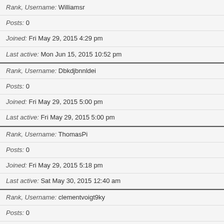Rank, Username: Williamsr
Posts: 0
Joined: Fri May 29, 2015 4:29 pm
Last active: Mon Jun 15, 2015 10:52 pm
Rank, Username: Dbkdjbnnldei
Posts: 0
Joined: Fri May 29, 2015 5:00 pm
Last active: Fri May 29, 2015 5:00 pm
Rank, Username: ThomasPi
Posts: 0
Joined: Fri May 29, 2015 5:18 pm
Last active: Sat May 30, 2015 12:40 am
Rank, Username: clementvoigt9ky
Posts: 0
Joined: Fri May 29, 2015 6:27 pm
Last active: Fri May 29, 2015 6:28 pm
Rank, Username: nigelnewmeyerux8
Posts: 0
Joined: Fri May 29, 2015 6:29 pm